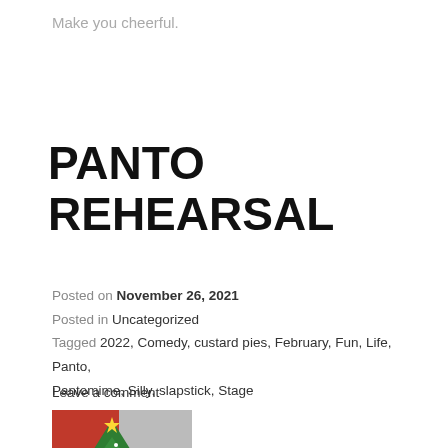Make you cheerful.
PANTO REHEARSAL
Posted on November 26, 2021
Posted in Uncategorized
Tagged 2022, Comedy, custard pies, February, Fun, Life, Panto, Pantomime, Silly, slapstick, Stage
Leave a comment
[Figure (photo): Photo of a decorated Christmas tree against a red curtain backdrop on a stage]